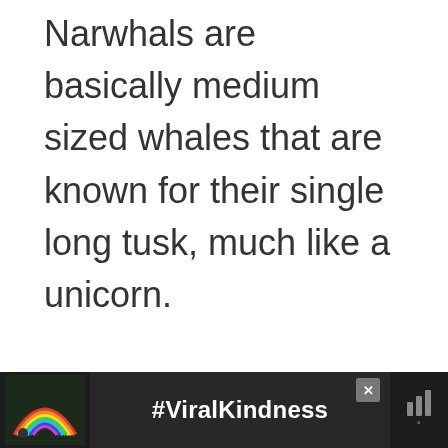Narwhals are basically medium sized whales that are known for their single long tusk, much like a unicorn.
[Figure (screenshot): Slideshow image area with dot navigation indicators and social interaction buttons (heart/like count/share). A 'What's Next' panel shows 'Easy Penguin Craft For...' with a circular thumbnail.]
[Figure (photo): Advertisement banner at bottom showing a rainbow illustration and '#ViralKindness' text on a dark textured background, with close and weather icons.]